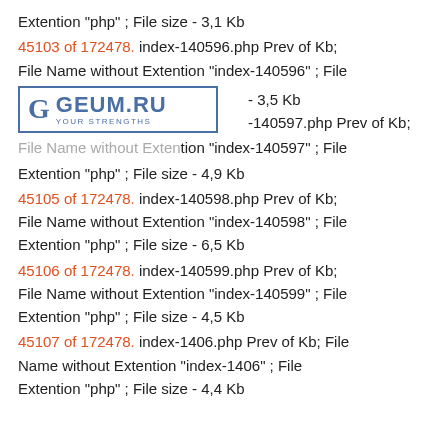Extention "php" ; File size - 3,1 Kb
45103 of 172478. index-140596.php Prev of Kb; File Name without Extention "index-140596" ; File - 3,5 Kb
[Figure (logo): GEUM.RU logo with G letter in bordered box and tagline YOUR STRENGTHS]
-140597.php Prev of Kb; File Name without Extention "index-140597" ; File Extention "php" ; File size - 4,9 Kb
45105 of 172478. index-140598.php Prev of Kb; File Name without Extention "index-140598" ; File Extention "php" ; File size - 6,5 Kb
45106 of 172478. index-140599.php Prev of Kb; File Name without Extention "index-140599" ; File Extention "php" ; File size - 4,5 Kb
45107 of 172478. index-1406.php Prev of Kb; File Name without Extention "index-1406" ; File Extention "php" ; File size - 4,4 Kb